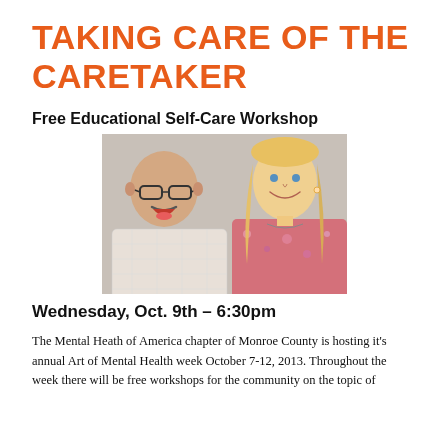TAKING CARE OF THE CARETAKER
Free Educational Self-Care Workshop
[Figure (photo): Two people posing together smiling: a bald man with glasses and a mustache wearing a plaid shirt, and a blonde woman wearing a floral top.]
Wednesday, Oct. 9th – 6:30pm
The Mental Heath of America chapter of Monroe County is hosting it's annual Art of Mental Health week October 7-12, 2013. Throughout the week there will be free workshops for the community on the topic of